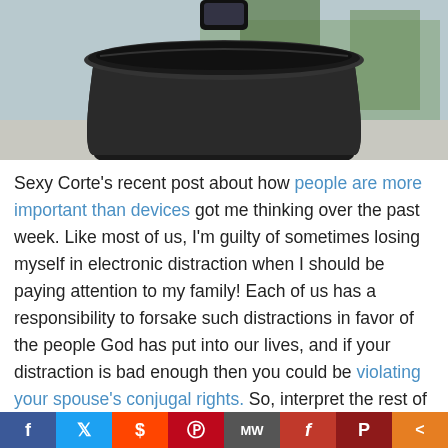[Figure (photo): A black trash can with a black garbage bag liner, outdoors in a park setting with trees in the background. A hand/phone appears to be dropping something into the can from above.]
Sexy Corte's recent post about how people are more important than devices got me thinking over the past week. Like most of us, I'm guilty of sometimes losing myself in electronic distraction when I should be paying attention to my family! Each of us has a responsibility to forsake such distractions in favor of the people God has put into our lives, and if your distraction is bad enough then you could be violating your spouse's conjugal rights. So, interpret the rest of this post in that light — I'm not trying to shift blame, but I do want to offer some ideas that might be helpful for the person who isn't getting the attention he or she
f  [twitter]  [reddit]  [pinterest]  MW  f  P  <